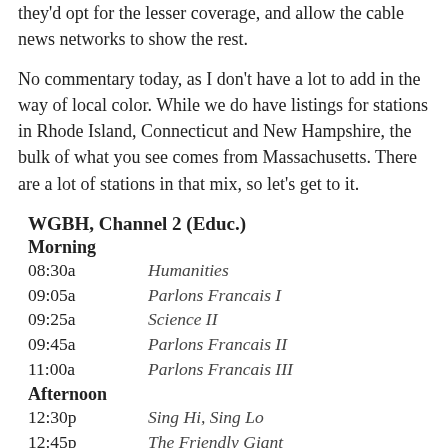they'd opt for the lesser coverage, and allow the cable news networks to show the rest.
No commentary today, as I don't have a lot to add in the way of local color. While we do have listings for stations in Rhode Island, Connecticut and New Hampshire, the bulk of what you see comes from Massachusetts. There are a lot of stations in that mix, so let's get to it.
WGBH, Channel 2 (Educ.)
Morning
08:30a   Humanities
09:05a   Parlons Francais I
09:25a   Science II
09:45a   Parlons Francais II
11:00a   Parlons Francais III
Afternoon
12:30p   Sing Hi, Sing Lo
12:45p   The Friendly Giant
12:45p   Parlons Francais I
01:15p   Humanities
01:45p   Science 2